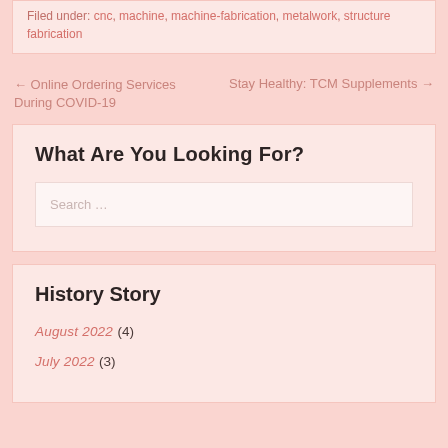Filed under: cnc, machine, machine-fabrication, metalwork, structure fabrication
← Online Ordering Services During COVID-19   Stay Healthy: TCM Supplements →
What Are You Looking For?
Search …
History Story
August 2022 (4)
July 2022 (3)